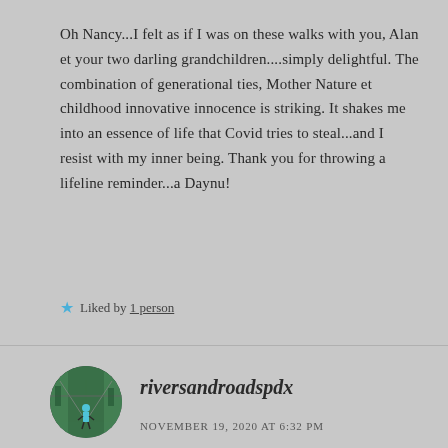Oh Nancy...I felt as if I was on these walks with you, Alan et your two darling grandchildren....simply delightful. The combination of generational ties, Mother Nature et childhood innovative innocence is striking. It shakes me into an essence of life that Covid tries to steal...and I resist with my inner being. Thank you for throwing a lifeline reminder...a Daynu!
★ Liked by 1 person
[Figure (photo): Circular avatar photo of a person on a bridge, outdoors, green background]
riversandroadspdx
NOVEMBER 19, 2020 AT 6:32 PM